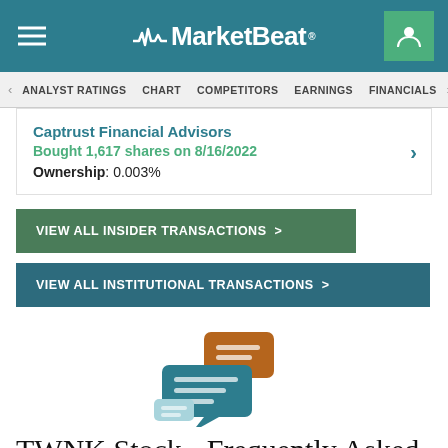MarketBeat
ANALYST RATINGS | CHART | COMPETITORS | EARNINGS | FINANCIALS
Captrust Financial Advisors
Bought 1,617 shares on 8/16/2022
Ownership: 0.003%
VIEW ALL INSIDER TRANSACTIONS >
VIEW ALL INSTITUTIONAL TRANSACTIONS >
[Figure (illustration): Speech bubble chat icon illustration with brown and teal overlapping chat bubbles]
TWNK Stock - Frequently Asked Questions